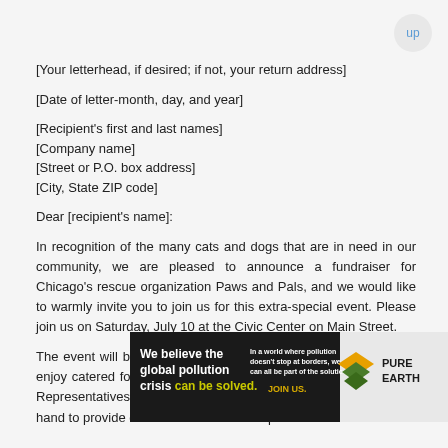[Your letterhead, if desired; if not, your return address]
[Date of letter-month, day, and year]
[Recipient's first and last names]
[Company name]
[Street or P.O. box address]
[City, State ZIP code]
Dear [recipient's name]:
In recognition of the many cats and dogs that are in need in our community, we are pleased to announce a fundraiser for Chicago's rescue organization Paws and Pals, and we would like to warmly invite you to join us for this extra-special event. Please join us on Saturday, July 10 at the Civic Center on Main Street.
The event will be held in the ballroom from 7 to 10 p.m. You will enjoy catered food, a cash bar, a silent auction, and door prizes. Representatives from numerous local pet businesses will be on hand to provide demonstrations and coupons and to answer
[Figure (other): Advertisement banner for Pure Earth: 'We believe the global pollution crisis can be solved.' with tagline 'In a world where pollution doesn't stop at borders, we can all be part of the solution. JOIN US.' and Pure Earth logo.]